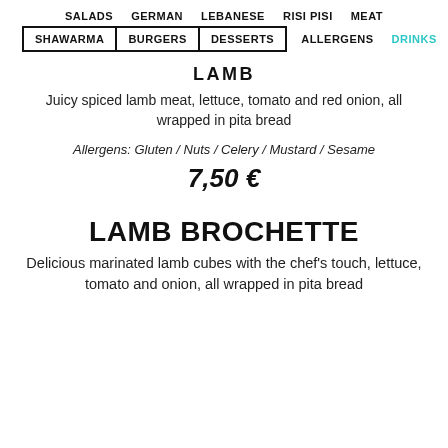SALADS   GERMAN   LEBANESE   RISI PISI   MEAT
SHAWARMA   BURGERS   DESSERTS   ALLERGENS   DRINKS
LAMB
Juicy spiced lamb meat, lettuce, tomato and red onion, all wrapped in pita bread
Allergens: Gluten / Nuts / Celery / Mustard / Sesame
7,50 €
LAMB BROCHETTE
Delicious marinated lamb cubes with the chef's touch, lettuce, tomato and onion, all wrapped in pita bread